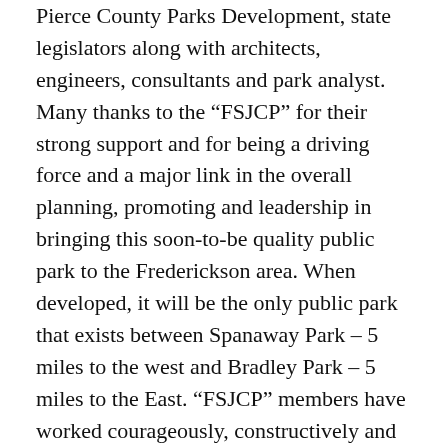Pierce County Parks Development, state legislators along with architects, engineers, consultants and park analyst. Many thanks to the “FSJCP” for their strong support and for being a driving force and a major link in the overall planning, promoting and leadership in bringing this soon-to-be quality public park to the Frederickson area. When developed, it will be the only public park that exists between Spanaway Park – 5 miles to the west and Bradley Park – 5 miles to the East. “FSJCP” members have worked courageously, constructively and with a cognitive spirit and a genuine attitude for a “let’s-get-it-done” fortitude. What a vision – What a journey – What determination we possessed – What an education and experience it has become. Someday, soon we will be able to watch the public enter Cross Park and enjoy the children’s play areas and equipment, benches, trails, bathrooms, parking, landscaping, park entry, signage, picnics and the